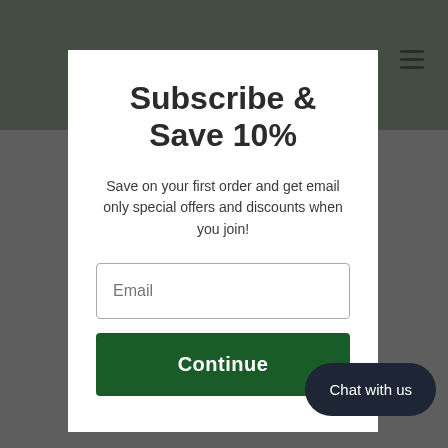Subscribe & Save 10%
Save on your first order and get email only special offers and discounts when you join!
Email
Continue
Chat with us